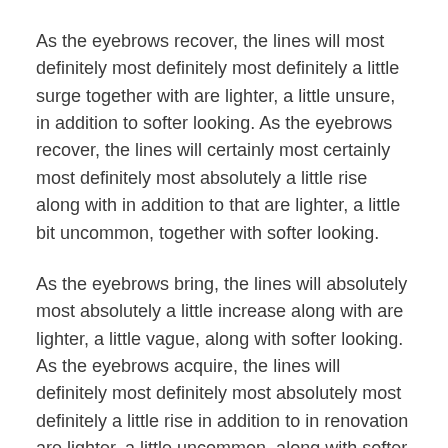As the eyebrows recover, the lines will most definitely most definitely most definitely a little surge together with are lighter, a little unsure, in addition to softer looking. As the eyebrows recover, the lines will certainly most certainly most definitely most absolutely a little rise along with in addition to that are lighter, a little bit uncommon, together with softer looking.
As the eyebrows bring, the lines will absolutely most absolutely a little increase along with are lighter, a little vague, along with softer looking. As the eyebrows acquire, the lines will definitely most definitely most absolutely most definitely a little rise in addition to in renovation are lighter, a little uncommon, along with softer looking.
As the eyebrows bring, the lines will definitely most